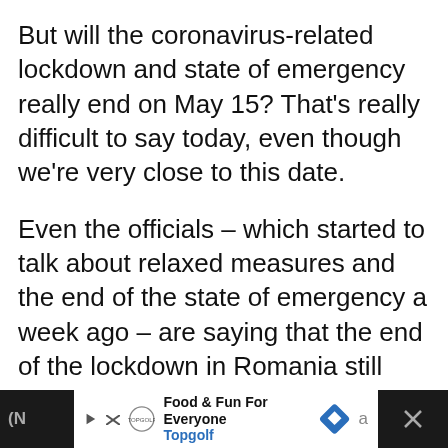But will the coronavirus-related lockdown and state of emergency really end on May 15? That's really difficult to say today, even though we're very close to this date.
Even the officials – which started to talk about relaxed measures and the end of the state of emergency a week ago – are saying that the end of the lockdown in Romania still depends on the evolution of the number of confirmed cases and deaths related to the new virus.
[Figure (other): Advertisement bar at bottom of page showing Topgolf Food & Fun For Everyone ad with navigation icon]